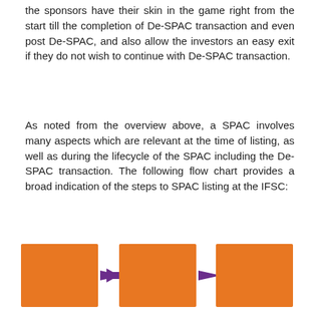the sponsors have their skin in the game right from the start till the completion of De-SPAC transaction and even post De-SPAC, and also allow the investors an easy exit if they do not wish to continue with De-SPAC transaction.
As noted from the overview above, a SPAC involves many aspects which are relevant at the time of listing, as well as during the lifecycle of the SPAC including the De-SPAC transaction. The following flow chart provides a broad indication of the steps to SPAC listing at the IFSC:
[Figure (flowchart): Three orange boxes connected by purple arrows showing steps: 1) Appointments of lead manager(s) to the issue and other intermediaries (in consultation with the lead managers), 2) Making an application for in-principle approval from recognised stock exchange(s) ('RSE'), 3) RSEs may either grant the in-principle approval or reject the application within 30 days from receipt of information]